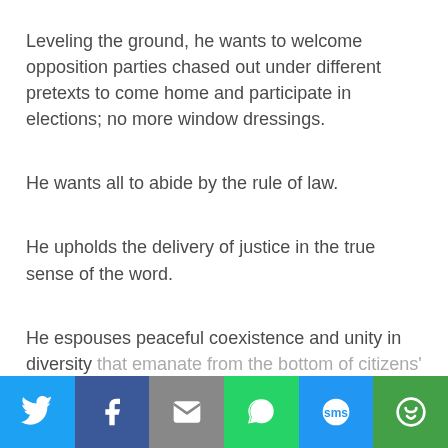Leveling the ground, he wants to welcome opposition parties chased out under different pretexts to come home and participate in elections; no more window dressings.
He wants all to abide by the rule of law.
He upholds the delivery of justice in the true sense of the word.
He espouses peaceful coexistence and unity in diversity that emanate from the bottom of citizens' heart